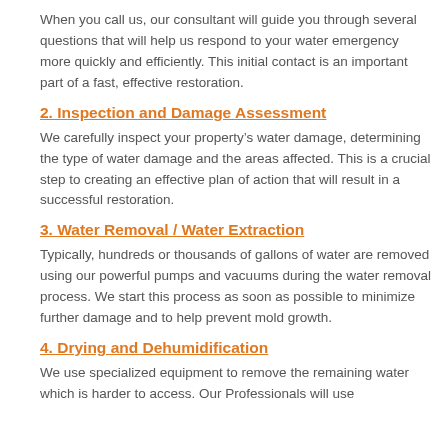When you call us, our consultant will guide you through several questions that will help us respond to your water emergency more quickly and efficiently. This initial contact is an important part of a fast, effective restoration.
2. Inspection and Damage Assessment
We carefully inspect your property’s water damage, determining the type of water damage and the areas affected. This is a crucial step to creating an effective plan of action that will result in a successful restoration.
3. Water Removal / Water Extraction
Typically, hundreds or thousands of gallons of water are removed using our powerful pumps and vacuums during the water removal process. We start this process as soon as possible to minimize further damage and to help prevent mold growth.
4. Drying and Dehumidification
We use specialized equipment to remove the remaining water which is harder to access. Our Professionals will use